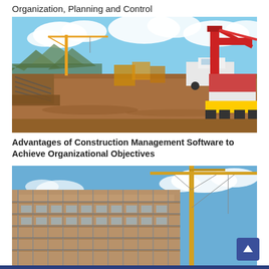Organization, Planning and Control
[Figure (photo): Construction site with cranes and heavy machinery on a dirt road, mountains in the background and cloudy sky]
Advantages of Construction Management Software to Achieve Organizational Objectives
[Figure (photo): Multi-storey building under construction covered in scaffolding with a tall crane in the background against a blue sky]